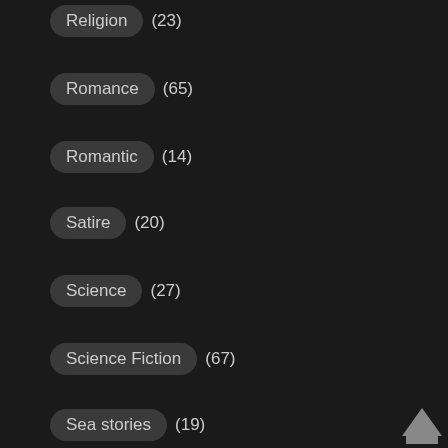Religion (23)
Romance (65)
Romantic (14)
Satire (20)
Science (27)
Science Fiction (67)
Sea stories (19)
Self-Improvement (31)
Sensation novel (4)
Short stories (78)
Short works for children (12)
[Figure (illustration): Back to top arrow icon in bottom-right corner]